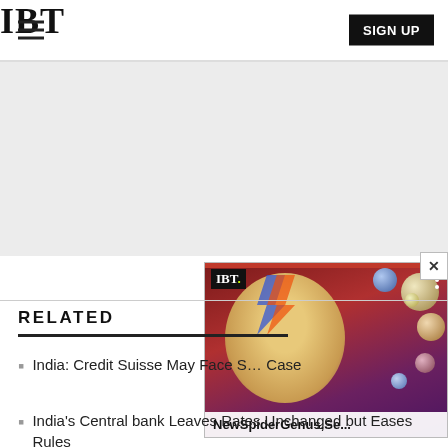IBT  SIGN UP
[Figure (other): Gray advertisement placeholder area]
[Figure (photo): Video popup showing IBT logo and a face with lightning bolt makeup (David Bowie style), with colorful spheres. Title: NewSpiderGenus,Se...]
RELATED
India: Credit Suisse May Face S... Case
India's Central bank Leaves Rates Unchanged but Eases Rules